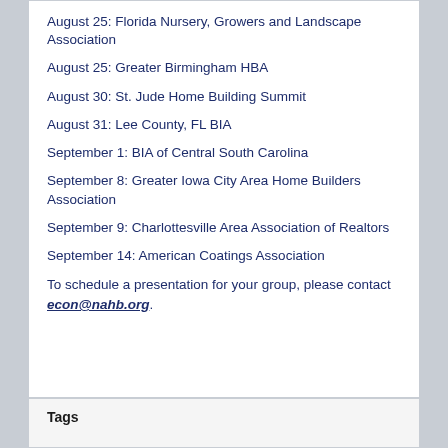August 25: Florida Nursery, Growers and Landscape Association
August 25: Greater Birmingham HBA
August 30: St. Jude Home Building Summit
August 31: Lee County, FL BIA
September 1: BIA of Central South Carolina
September 8: Greater Iowa City Area Home Builders Association
September 9: Charlottesville Area Association of Realtors
September 14: American Coatings Association
To schedule a presentation for your group, please contact econ@nahb.org.
Tags